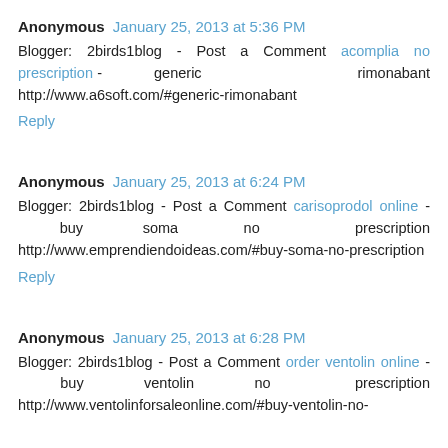Anonymous January 25, 2013 at 5:36 PM
Blogger: 2birds1blog - Post a Comment acomplia no prescription - generic rimonabant http://www.a6soft.com/#generic-rimonabant
Reply
Anonymous January 25, 2013 at 6:24 PM
Blogger: 2birds1blog - Post a Comment carisoprodol online - buy soma no prescription http://www.emprendiendoideas.com/#buy-soma-no-prescription
Reply
Anonymous January 25, 2013 at 6:28 PM
Blogger: 2birds1blog - Post a Comment order ventolin online - buy ventolin no prescription http://www.ventolinforsaleonline.com/#buy-ventolin-no-prescription